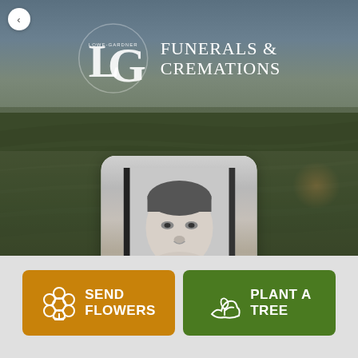[Figure (photo): Lowe-Gardner Funerals & Cremations logo overlaid on a landscape hero banner showing sky and green fields]
FUNERALS & CREMATIONS
[Figure (photo): Black and white portrait photograph of a man, shown from chest up, displayed in a white rounded rectangle card]
SEND FLOWERS
PLANT A TREE